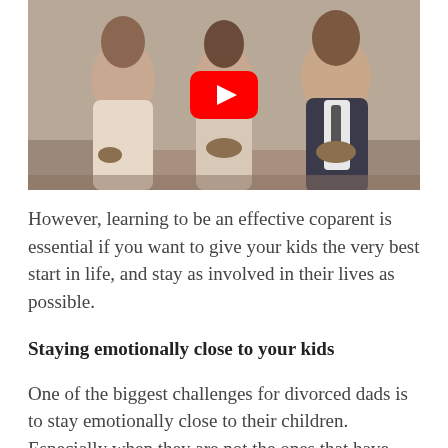[Figure (screenshot): YouTube video thumbnail showing three people (two women and a man) sitting on a couch/sofa. A red YouTube play button icon is overlaid in the center of the image.]
However, learning to be an effective coparent is essential if you want to give your kids the very best start in life, and stay as involved in their lives as possible.
Staying emotionally close to your kids
One of the biggest challenges for divorced dads is to stay emotionally close to their children. Especially when they are not the ones that have custody and no longer live in the family home.